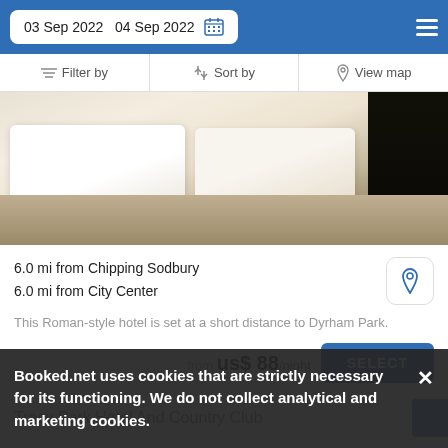03 Sep 2022  04 Sep 2022
Filter by  Sort by  View map
[Figure (photo): Hotel room photo showing white pillows and bed with woven blanket runner on dark background]
6.0 mi from Chipping Sodbury
6.0 mi from City Center
This Roman-style hotel is set at a short distance to Dyrham Park.
from us$ 88/night
SELECT
Tracy Park Hotel And Country Club
Booked.net uses cookies that are strictly necessary for its functioning. We do not collect analytical and marketing cookies.